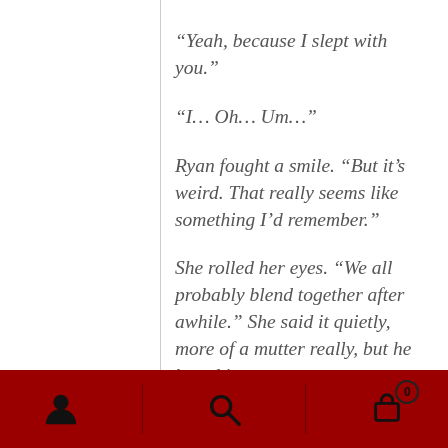“Yeah, because I slept with you.”
“I… Oh… Um…”
Ryan fought a smile. “But it’s weird. That really seems like something I’d remember.”
She rolled her eyes. “We all probably blend together after awhile.” She said it quietly, more of a mutter really, but he heard it.
“What’s that mean?” he demanded. He put a finger under her chin and tipped her head so she had to look at him. “Amanda, what does that mean?”
[Figure (infographic): Dark red bottom navigation bar with three icons: a person/user icon on the left, a search/magnifying glass icon in the center, and a shopping cart icon with a badge showing '0' on the right. Vertical dividers separate the sections.]